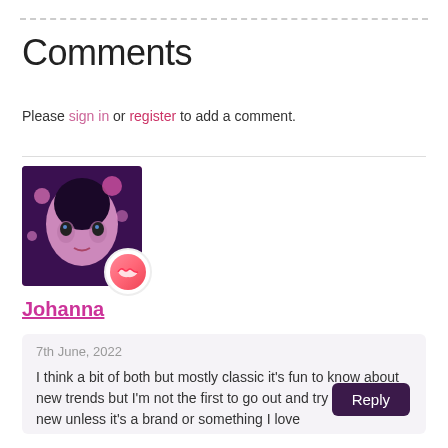Comments
Please sign in or register to add a comment.
[Figure (photo): User avatar photo of Johanna with a lips/kiss badge overlay]
Johanna
7th June, 2022
I think a bit of both but mostly classic it's fun to know about new trends but I'm not the first to go out and try something new unless it's a brand or something I love